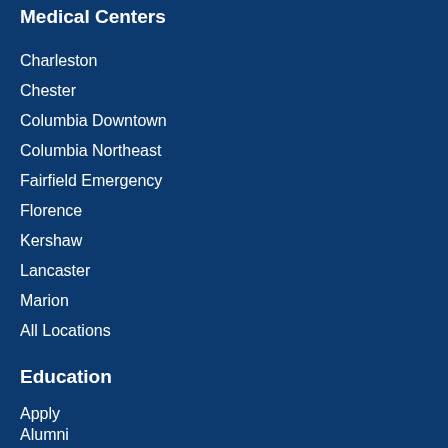Medical Centers
Charleston
Chester
Columbia Downtown
Columbia Northeast
Fairfield Emergency
Florence
Kershaw
Lancaster
Marion
All Locations
Education
Apply
Alumni
Check My Application
Colleges
Degrees & Programs